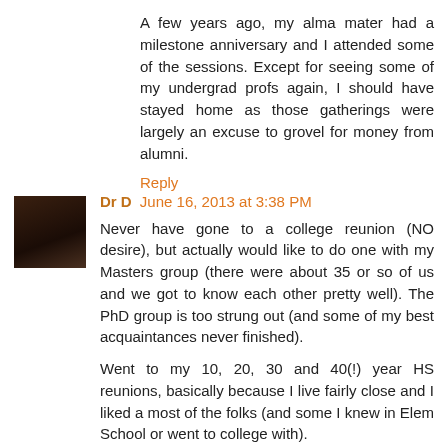A few years ago, my alma mater had a milestone anniversary and I attended some of the sessions. Except for seeing some of my undergrad profs again, I should have stayed home as those gatherings were largely an excuse to grovel for money from alumni.
Reply
Dr D  June 16, 2013 at 3:38 PM
Never have gone to a college reunion (NO desire), but actually would like to do one with my Masters group (there were about 35 or so of us and we got to know each other pretty well). The PhD group is too strung out (and some of my best acquaintances never finished).
Went to my 10, 20, 30 and 40(!) year HS reunions, basically because I live fairly close and I liked a most of the folks (and some I knew in Elem School or went to college with).
Reply